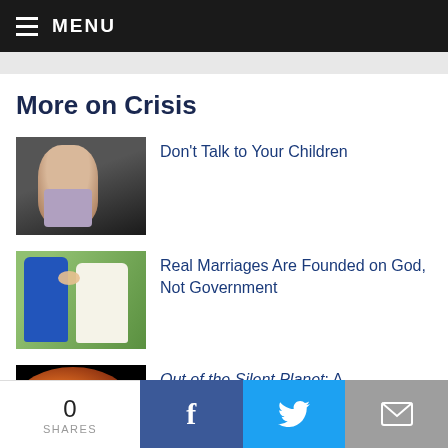MENU
More on Crisis
[Figure (photo): Young child in vest looking surprised, holding paper]
Don't Talk to Your Children
[Figure (photo): Couple kissing at wedding, man in blue suit]
Real Marriages Are Founded on God, Not Government
[Figure (photo): Planet (Mars) against black background]
Out of the Silent Planet: A
0 SHARES